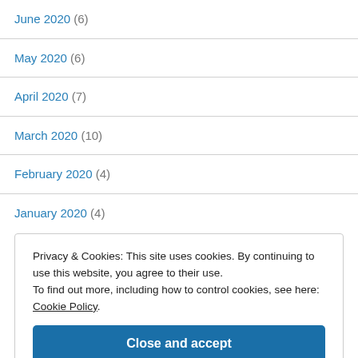June 2020 (6)
May 2020 (6)
April 2020 (7)
March 2020 (10)
February 2020 (4)
January 2020 (4)
Privacy & Cookies: This site uses cookies. By continuing to use this website, you agree to their use. To find out more, including how to control cookies, see here: Cookie Policy.
Close and accept